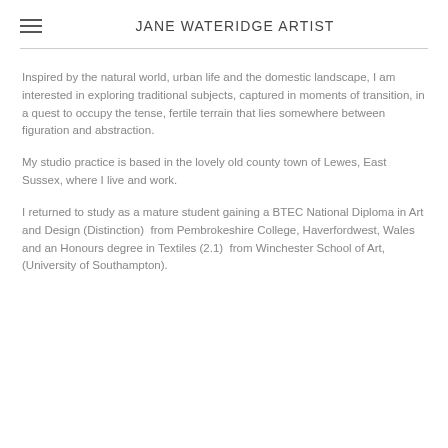JANE WATERIDGE ARTIST
Inspired by the natural world, urban life and the domestic landscape, I am interested in exploring traditional subjects, captured in moments of transition, in a quest to occupy the tense, fertile terrain that lies somewhere between figuration and abstraction.
My studio practice is based in the lovely old county town of Lewes, East Sussex, where I live and work.
I returned to study as a mature student gaining a BTEC National Diploma in Art and Design (Distinction)  from Pembrokeshire College, Haverfordwest, Wales and an Honours degree in Textiles (2.1)  from Winchester School of Art, (University of Southampton).